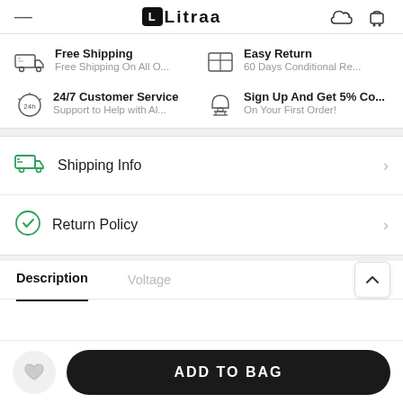Litraa
Free Shipping
Free Shipping On All O...
Easy Return
60 Days Conditional Re...
24/7 Customer Service
Support to Help with Al...
Sign Up And Get 5% Co...
On Your First Order!
Shipping Info
Return Policy
Description	Voltage